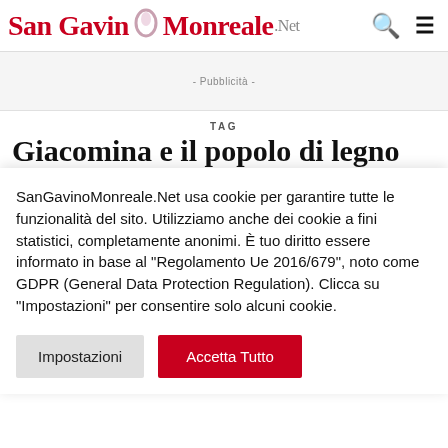San Gavino Monreale .Net
- Pubblicità -
TAG
Giacomina e il popolo di legno
SanGavinoMonreale.Net usa cookie per garantire tutte le funzionalità del sito. Utilizziamo anche dei cookie a fini statistici, completamente anonimi. È tuo diritto essere informato in base al "Regolamento Ue 2016/679", noto come GDPR (General Data Protection Regulation). Clicca su "Impostazioni" per consentire solo alcuni cookie.
Impostazioni | Accetta Tutto